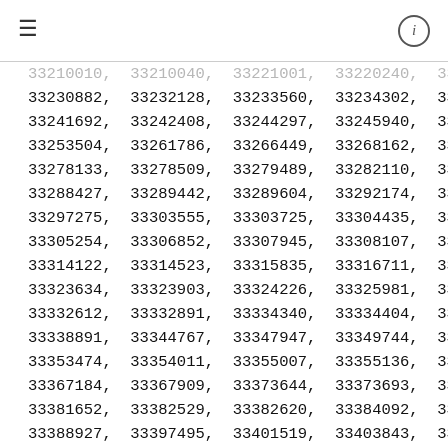≡   (i)
33210010, 33210040, 33221001, 33220240, 33...
33230882, 33232128, 33233560, 33234302, 33...
33241692, 33242408, 33244297, 33245940, 33...
33253504, 33261786, 33266449, 33268162, 33...
33278133, 33278509, 33279489, 33282110, 33...
33288427, 33289442, 33289604, 33292174, 33...
33297275, 33303555, 33303725, 33304435, 33...
33305254, 33306852, 33307945, 33308107, 33...
33314122, 33314523, 33315835, 33316711, 33...
33323634, 33323903, 33324226, 33325981, 33...
33332612, 33332891, 33334340, 33334404, 33...
33338891, 33344767, 33347947, 33349744, 33...
33353474, 33354011, 33355007, 33355136, 33...
33367184, 33367909, 33373644, 33373693, 33...
33381652, 33382529, 33382620, 33384092, 33...
33388927, 33397495, 33401519, 33403843, 33...
33409759, 33409841, 33415279, 33416405, 33...
33420249, 33420490, 33421440, 33422596, 33...